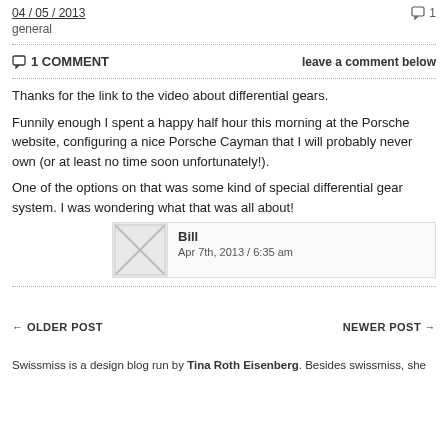04 / 05 / 2013   [comment icon] 1
general
[comment icon] 1 COMMENT    leave a comment below
Thanks for the link to the video about differential gears.
Funnily enough I spent a happy half hour this morning at the Porsche website, configuring a nice Porsche Cayman that I will probably never own (or at least no time soon unfortunately!).
One of the options on that was some kind of special differential gear system. I was wondering what that was all about!
Bill
Apr 7th, 2013 / 6:35 am
← OLDER POST    NEWER POST →
Swissmiss is a design blog run by Tina Roth Eisenberg. Besides swissmiss, she